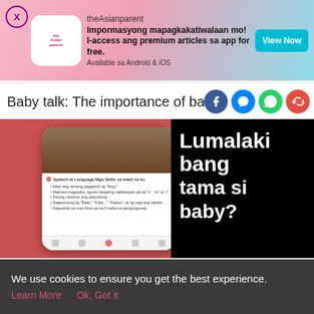[Figure (screenshot): theAsianparent app advertisement banner with pink gradient background, app logo, promotional text in Filipino, and View Now button]
Baby talk: The importance of babbling
[Figure (screenshot): Article hero image showing a phone mockup with speech and language milestones content on coral/red background, and a black panel with text 'Lumalaki bang tama si baby?' in white bold text]
[Figure (screenshot): Bottom navigation bar with Tools, Articles, home (baby feet icon), Feed, and Poll icons]
We use cookies to ensure you get the best experience.
Learn More   Ok, Got it